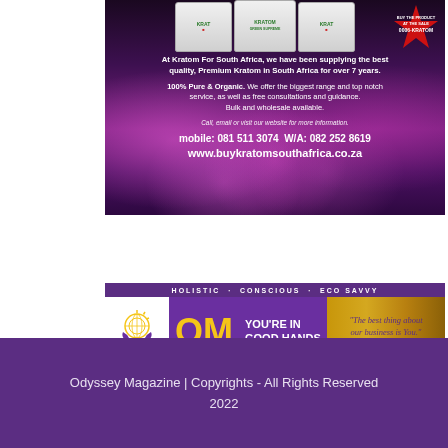[Figure (advertisement): Kratom For South Africa advertisement with purple/pink floral background and product bottles. Text: 'At Kratom For South Africa, we have been supplying the best quality, Premium Kratom in South Africa for over 7 years. 100% Pure & Organic. We offer the biggest range and top notch service, as well as free consultations and guidance. Bulk and wholesale available. Call, email or visit our website for more information. mobile: 081 511 3074  W/A: 082 252 8619  www.buykratomsouthafrica.co.za']
[Figure (advertisement): OM Magazine banner ad. Header: 'HOLISTIC · CONSCIOUS · ECO SAVVY'. Purple section with OM logo and text 'YOU'RE IN GOOD HANDS'. Gold section with quote: 'The best thing about our business is You.' - Odyssey]
Odyssey Magazine | Copyrights - All Rights Reserved
2022